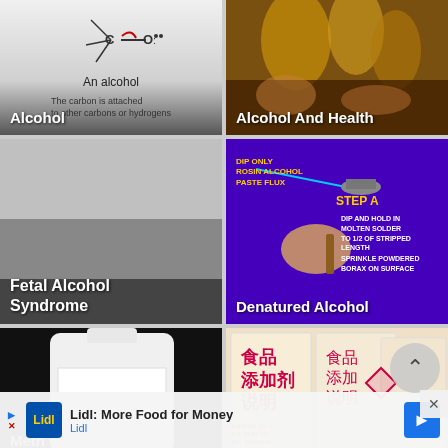[Figure (illustration): Chemical diagram of an alcohol molecule (C-O) with text 'An alcohol' and 'The carbon is attached to other carbons or hydrogens'. Label overlay: Alcohol]
[Figure (photo): People clinking beer glasses, dark background. Label overlay: Alcohol And Health]
[Figure (photo): Dark gray gradient background. Label overlay: Fetal Alcohol Syndrome]
[Figure (illustration): Purple/blue background showing soldering instructions with Rosin Alcohol Paste Flux, Step A diagram with DIP AND HOLD IN MOLTEN SOLDER steps and SPRINKLE POWDERED BORAX text. Label overlay: Denatured Alcohol]
[Figure (photo): White plastic bottle on dark background. Partial label text 'Meth' visible at bottom.]
[Figure (photo): Chinese food additive packaging with red Chinese characters and safety symbols.]
Lidl: More Food for Money
Lidl